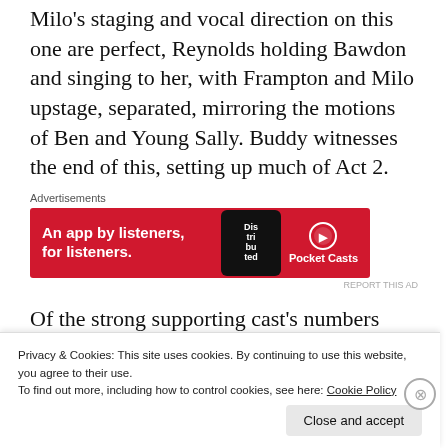Milo's staging and vocal direction on this one are perfect, Reynolds holding Bawdon and singing to her, with Frampton and Milo upstage, separated, mirroring the motions of Ben and Young Sally. Buddy witnesses the end of this, setting up much of Act 2.
[Figure (other): Pocket Casts advertisement banner: red background with text 'An app by listeners, for listeners.' with Pocket Casts logo and a phone graphic showing 'Disturbed']
Of the strong supporting cast's numbers breaking the tension between the principals
Privacy & Cookies: This site uses cookies. By continuing to use this website, you agree to their use. To find out more, including how to control cookies, see here: Cookie Policy
Close and accept